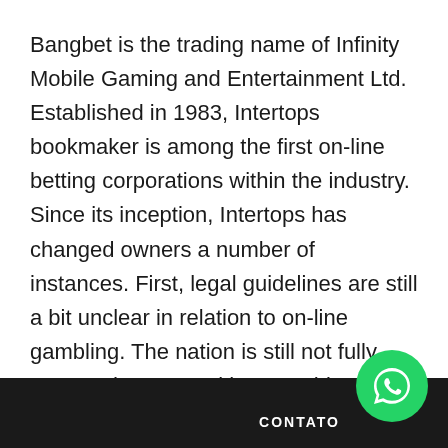Bangbet is the trading name of Infinity Mobile Gaming and Entertainment Ltd. Established in 1983, Intertops bookmaker is among the first on-line betting corporations within the industry. Since its inception, Intertops has changed owners a number of instances. First, legal guidelines are still a bit unclear in relation to on-line gambling. The nation is still not fully prepared to cope with every thing interned-related, and laws are not quite there. While sports betting is legal within the eyes of the gambling legislation, there isn't a definitive final place on it.
[Figure (logo): WhatsApp contact button - green circle with WhatsApp phone icon, labeled CONTATO]
CONTATO